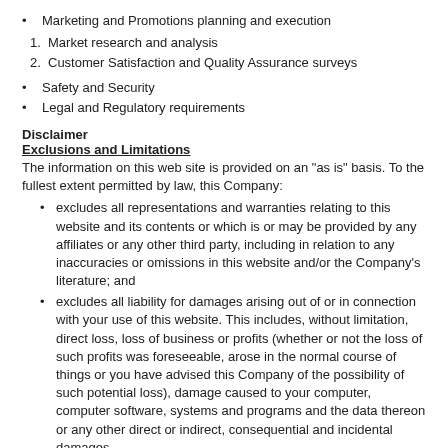Marketing and Promotions planning and execution
1. Market research and analysis
2. Customer Satisfaction and Quality Assurance surveys
Safety and Security
Legal and Regulatory requirements
Disclaimer
Exclusions and Limitations
The information on this web site is provided on an "as is" basis. To the fullest extent permitted by law, this Company:
excludes all representations and warranties relating to this website and its contents or which is or may be provided by any affiliates or any other third party, including in relation to any inaccuracies or omissions in this website and/or the Company's literature; and
excludes all liability for damages arising out of or in connection with your use of this website. This includes, without limitation, direct loss, loss of business or profits (whether or not the loss of such profits was foreseeable, arose in the normal course of things or you have advised this Company of the possibility of such potential loss), damage caused to your computer, computer software, systems and programs and the data thereon or any other direct or indirect, consequential and incidental damages.